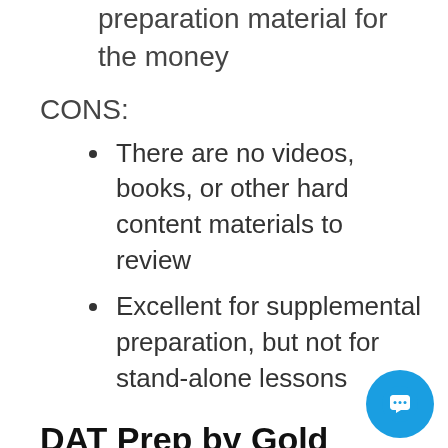preparation material for the money
CONS:
There are no videos, books, or other hard content materials to review
Excellent for supplemental preparation, but not for stand-alone lessons
DAT Prep by Gold Standard
For over 25 years, Gold Standard has helped students get into the